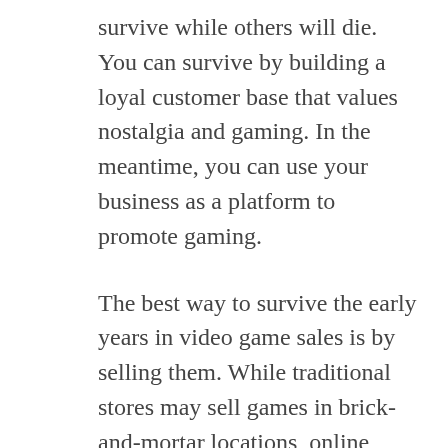survive while others will die. You can survive by building a loyal customer base that values nostalgia and gaming. In the meantime, you can use your business as a platform to promote gaming.
The best way to survive the early years in video game sales is by selling them. While traditional stores may sell games in brick-and-mortar locations, online stores are often the More methods profitable option. Traditional brick-and-mortar shops may only have a small customer base. A videogame store can serve both casual and serious gamers. This niche market can be very lucrative, even though you will have to compete against large companies. It can also